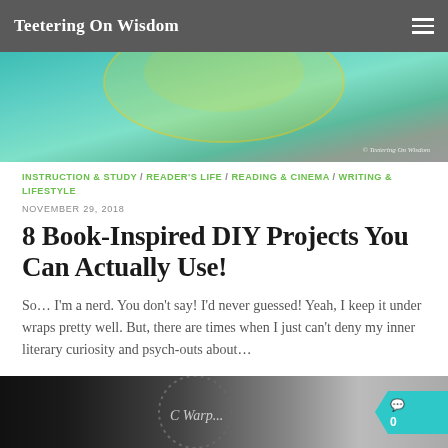Teetering On Wisdom
[Figure (photo): Hero image showing teal/turquoise decorative background with watermark '© Teetering On Wisdom']
INSTRUCTION & STUDY / READER'S LIFE / READING & CINEMA / WRITING & LIFESTYLE
NOVEMBER 29, 2018
8 Book-Inspired DIY Projects You Can Actually Use!
So… I'm a nerd. You don't say! I'd never guessed! Yeah, I keep it under wraps pretty well. But, there are times when I just can't deny my inner literary curiosity and psych-outs about…
[Figure (photo): Bottom image showing partial circular dotted graphic with text partially visible, with teal chat badge showing '0' count]